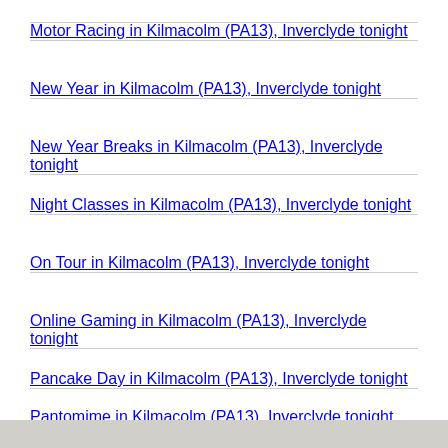Motor Racing in Kilmacolm (PA13), Inverclyde tonight
New Year in Kilmacolm (PA13), Inverclyde tonight
New Year Breaks in Kilmacolm (PA13), Inverclyde tonight
Night Classes in Kilmacolm (PA13), Inverclyde tonight
On Tour in Kilmacolm (PA13), Inverclyde tonight
Online Gaming in Kilmacolm (PA13), Inverclyde tonight
Pancake Day in Kilmacolm (PA13), Inverclyde tonight
Pantomime in Kilmacolm (PA13), Inverclyde tonight